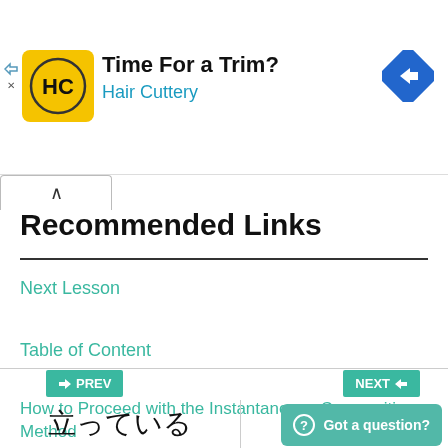[Figure (screenshot): Hair Cuttery advertisement banner with yellow logo, text 'Time For a Trim? Hair Cuttery', and a blue diamond arrow icon]
Recommended Links
Next Lesson
Table of Content
How to Proceed with the Instantaneous Composition Method
PREV  NEXT  Got a question?